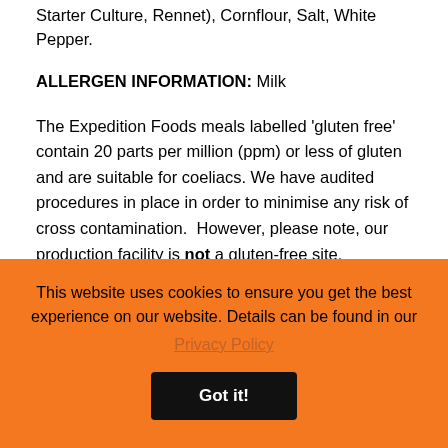Starter Culture, Rennet), Cornflour, Salt, White Pepper.
ALLERGEN INFORMATION: Milk
The Expedition Foods meals labelled 'gluten free' contain 20 parts per million (ppm) or less of gluten and are suitable for coeliacs. We have audited procedures in place in order to minimise any risk of cross contamination.  However, please note, our production facility is not a gluten-free site.
PREPARATION: REMOVE THE OXYGEN ABSORBER (Sachet) from inside the pouch. Slowly add hot water, stirring as you pour and then
This website uses cookies to ensure you get the best experience on our website. Details can be found in our Privacy Policy
Got it!